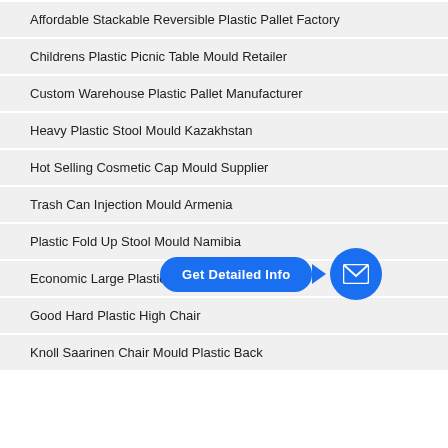Affordable Stackable Reversible Plastic Pallet Factory
Childrens Plastic Picnic Table Mould Retailer
Custom Warehouse Plastic Pallet Manufacturer
Heavy Plastic Stool Mould Kazakhstan
Hot Selling Cosmetic Cap Mould Supplier
Trash Can Injection Mould Armenia
Plastic Fold Up Stool Mould Namibia
Economic Large Plastic Pallet Factory
Good Hard Plastic High Chair
Knoll Saarinen Chair Mould Plastic Back